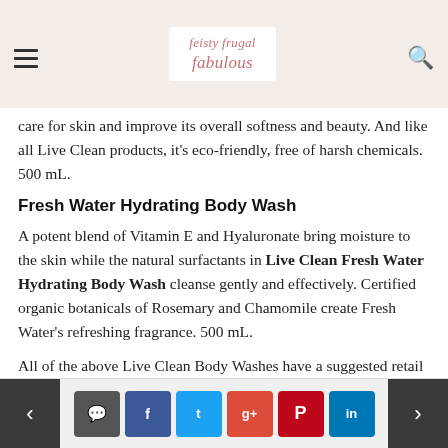feisty frugal fabulous — navigation header with hamburger menu and search icon
care for skin and improve its overall softness and beauty. And like all Live Clean products, it's eco-friendly, free of harsh chemicals. 500 mL.
Fresh Water Hydrating Body Wash
A potent blend of Vitamin E and Hyaluronate bring moisture to the skin while the natural surfactants in Live Clean Fresh Water Hydrating Body Wash cleanse gently and effectively. Certified organic botanicals of Rosemary and Chamomile create Fresh Water's refreshing fragrance. 500 mL.
All of the above Live Clean Body Washes have a suggested retail price of $7.49 – $7.99.
Navigation footer with previous/next arrows and social share buttons: comment, facebook, twitter, google+, pinterest, linkedin